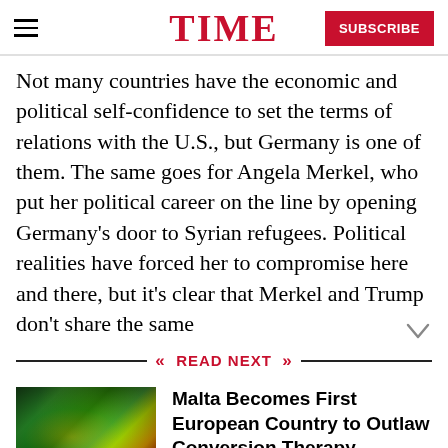TIME
Not many countries have the economic and political self-confidence to set the terms of relations with the U.S., but Germany is one of them. The same goes for Angela Merkel, who put her political career on the line by opening Germany's door to Syrian refugees. Political realities have forced her to compromise here and there, but it's clear that Merkel and Trump don't share the same
READ NEXT
[Figure (photo): Crowd at a colorful festival or event with green and gold lighting]
Malta Becomes First European Country to Outlaw Conversion Therapy